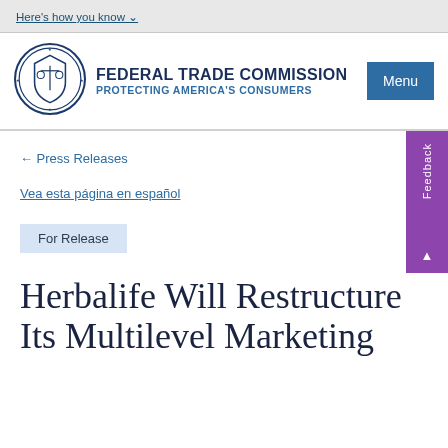Here's how you know
[Figure (logo): Federal Trade Commission seal/logo]
FEDERAL TRADE COMMISSION
PROTECTING AMERICA'S CONSUMERS
← Press Releases
Vea esta página en español
For Release
Herbalife Will Restructure Its Multilevel Marketing...